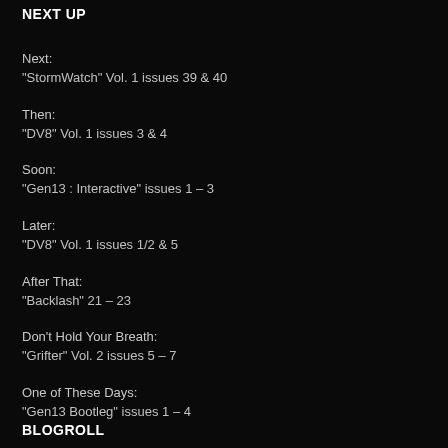NEXT UP
Next:
“StormWatch” Vol. 1 issues 39 & 40
Then:
“DV8” Vol. 1 issues 3 & 4
Soon:
“Gen13 : Interactive” issues 1 – 3
Later:
“DV8” Vol. 1 issues 1/2 & 5
After That:
“Backlash” 21 – 23
Don’t Hold Your Breath:
“Grifter” Vol. 2 issues 5 – 7
One of These Days:
“Gen13 Bootleg” issues 1 – 4
BLOGROLL